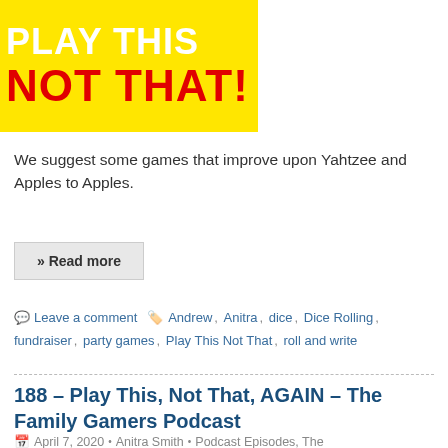[Figure (illustration): Yellow background image with text 'PLAY THIS' in white and 'NOT THAT!' in red, bold uppercase letters]
We suggest some games that improve upon Yahtzee and Apples to Apples.
» Read more
Leave a comment  Andrew, Anitra, dice, Dice Rolling, fundraiser, party games, Play This Not That, roll and write
188 – Play This, Not That, AGAIN – The Family Gamers Podcast
April 7, 2020  •  Anitra Smith  •  Podcast Episodes, The